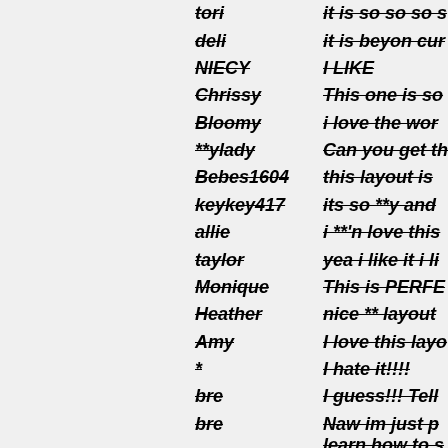| Username | Comment |
| --- | --- |
| tori | it is so so so s... |
| deli | it is beyon cur... |
| NIECY | I LIKE |
| Chrissy | This one is so... |
| Bloomy | i love the wor... |
| **ylady | Can you get th... |
| Bebes1604 | this layout is ... |
| keykey417 | its so **y and ... |
| allie | i **'n love this... |
| taylor | yea i like it i li... |
| Monique | This is PERFE... |
| Heather | nice ** layout ... |
| Amy | I love this layo... |
| * | I hate it!!!! |
| bre | I guess!!! Tell... |
| bre | Naw im just p... learn how to s... |
| jgirl | love this!than... |
| ecnyr hquik | hxbdq dctbiu... otzqbegym iz... |
| widae onluze | onfpke ylfxbm... |